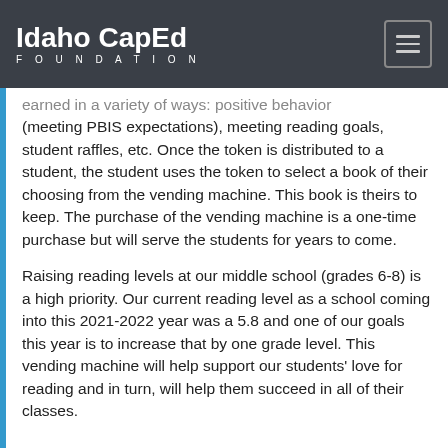Idaho CapEd FOUNDATION
earned in a variety of ways: positive behavior (meeting PBIS expectations), meeting reading goals, student raffles, etc. Once the token is distributed to a student, the student uses the token to select a book of their choosing from the vending machine. This book is theirs to keep. The purchase of the vending machine is a one-time purchase but will serve the students for years to come.
Raising reading levels at our middle school (grades 6-8) is a high priority. Our current reading level as a school coming into this 2021-2022 year was a 5.8 and one of our goals this year is to increase that by one grade level. This vending machine will help support our students' love for reading and in turn, will help them succeed in all of their classes.